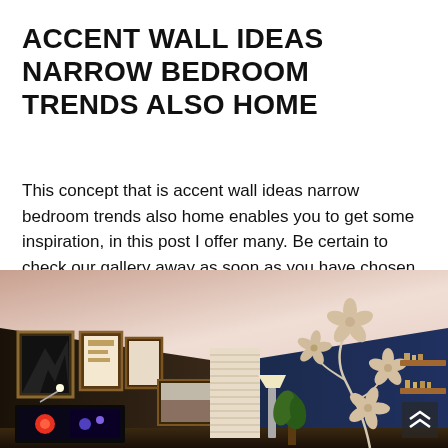ACCENT WALL IDEAS NARROW BEDROOM TRENDS ALSO HOME
This concept that is accent wall ideas narrow bedroom trends also home enables you to get some inspiration, in this post I offer many. Be certain to check our gallery away as soon as you have chosen the best appear for yours.
[Figure (photo): Interior bedroom photo showing a narrow room with a dark navy blue accent wall decorated with white floral decal artwork and wooden floating shelves. Left wall has framed art pictures and a TV. A plant and window blind are visible in the center background.]